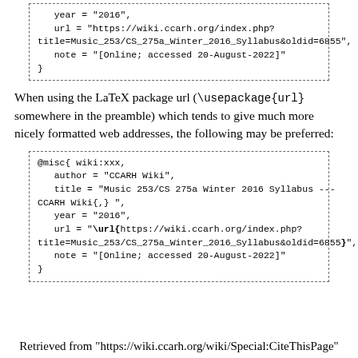year = "2016",
   url = "https://wiki.ccarh.org/index.php?title=Music_253/CS_275a_Winter_2016_Syllabus&oldid=6855",
   note = "[Online; accessed 20-August-2022]"
}
When using the LaTeX package url (\usepackage{url} somewhere in the preamble) which tends to give much more nicely formatted web addresses, the following may be preferred:
@misc{ wiki:xxx,
   author = "CCARH Wiki",
   title = "Music 253/CS 275a Winter 2016 Syllabus ---CCARH Wiki{,} ",
   year = "2016",
   url = "\url{https://wiki.ccarh.org/index.php?title=Music_253/CS_275a_Winter_2016_Syllabus&oldid=6855}",
   note = "[Online; accessed 20-August-2022]"
}
Retrieved from "https://wiki.ccarh.org/wiki/Special:CiteThisPage"